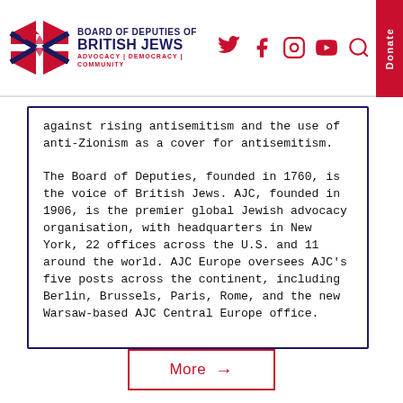Board of Deputies of British Jews — ADVOCACY | DEMOCRACY | COMMUNITY
against rising antisemitism and the use of anti-Zionism as a cover for antisemitism.
The Board of Deputies, founded in 1760, is the voice of British Jews. AJC, founded in 1906, is the premier global Jewish advocacy organisation, with headquarters in New York, 22 offices across the U.S. and 11 around the world. AJC Europe oversees AJC's five posts across the continent, including Berlin, Brussels, Paris, Rome, and the new Warsaw-based AJC Central Europe office.
More →